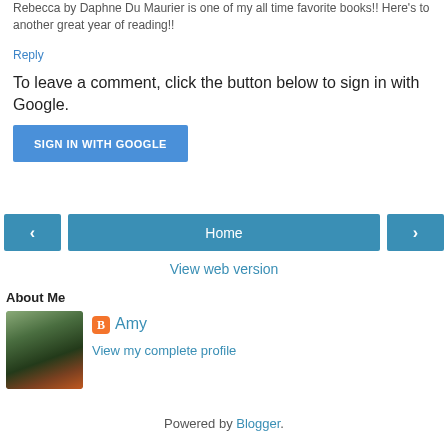Rebecca by Daphne Du Maurier is one of my all time favorite books!! Here's to another great year of reading!!
Reply
To leave a comment, click the button below to sign in with Google.
SIGN IN WITH GOOGLE
[Figure (screenshot): Navigation bar with left arrow, Home button, and right arrow buttons in teal/blue color]
View web version
About Me
[Figure (photo): Profile photo of Amy, a woman with dark hair wearing a black top and rust/orange skirt, outdoors]
Amy
View my complete profile
Powered by Blogger.